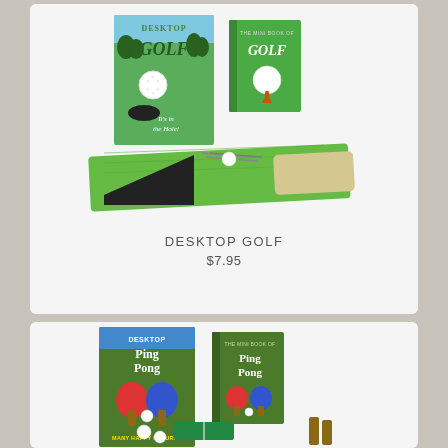[Figure (photo): Desktop Golf product set: box with golf course illustration labeled 'Desktop Golf - It's in the Hole!', a small green book titled 'The Mini Book of Golf', a miniature putting green mat, golf club, and accessories.]
DESKTOP GOLF
$7.95
[Figure (photo): Desktop Ping Pong product set: box labeled 'Desktop Ping Pong - Many Happy Returns', a small book titled 'The Mini Book of Ping Pong', two small paddles (red and blue), a ball, and net accessories.]